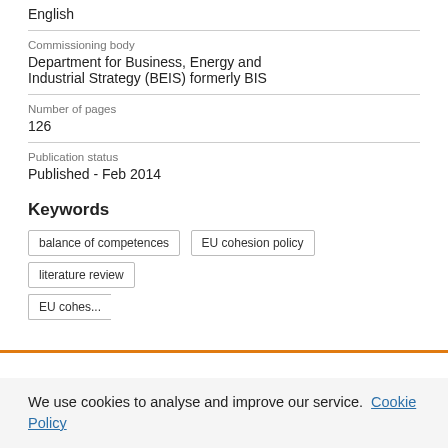English
Commissioning body
Department for Business, Energy and Industrial Strategy (BEIS) formerly BIS
Number of pages
126
Publication status
Published - Feb 2014
Keywords
balance of competences
EU cohesion policy
literature review
We use cookies to analyse and improve our service. Cookie Policy